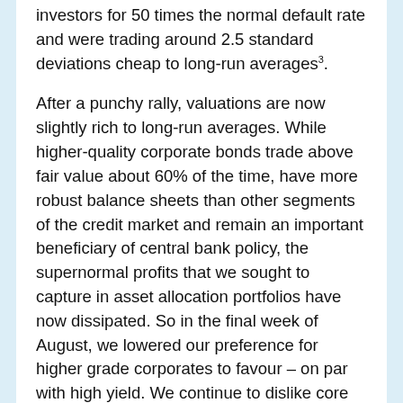investors for 50 times the normal default rate and were trading around 2.5 standard deviations cheap to long-run averages³.
After a punchy rally, valuations are now slightly rich to long-run averages. While higher-quality corporate bonds trade above fair value about 60% of the time, have more robust balance sheets than other segments of the credit market and remain an important beneficiary of central bank policy, the supernormal profits that we sought to capture in asset allocation portfolios have now dissipated. So in the final week of August, we lowered our preference for higher grade corporates to favour – on par with high yield. We continue to dislike core government bonds, however, where risk/reward at present valuations is very poor.
As before, these moves do not put us in a defensive mode: indeed, we remain quite exposed to both equity and credit risk. Lower effective discount rates are a